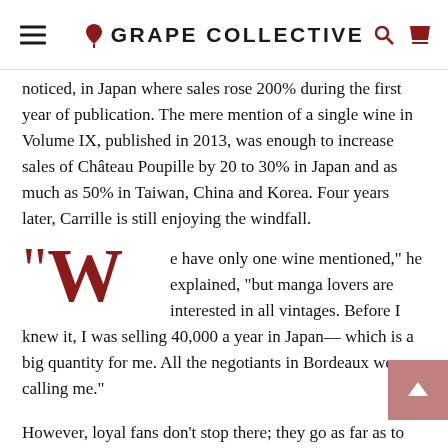GRAPE COLLECTIVE
noticed, in Japan where sales rose 200% during the first year of publication. The mere mention of a single wine in Volume IX, published in 2013, was enough to increase sales of Château Poupille by 20 to 30% in Japan and as much as 50% in Taiwan, China and Korea. Four years later, Carrille is still enjoying the windfall.
"We have only one wine mentioned," he explained, "but manga lovers are interested in all vintages. Before I knew it, I was selling 40,000 a year in Japan—which is a big quantity for me. All the negotiants in Bordeaux were calling me."
However, loyal fans don't stop there; they go as far as to make pilgrimages to the Côtes de Castillon where Carrille invites his guests to a